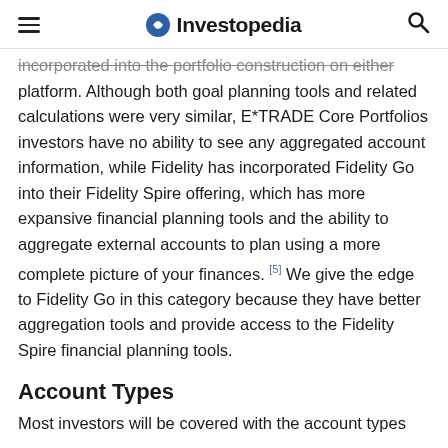Investopedia
incorporated into the portfolio construction on either platform. Although both goal planning tools and related calculations were very similar, E*TRADE Core Portfolios investors have no ability to see any aggregated account information, while Fidelity has incorporated Fidelity Go into their Fidelity Spire offering, which has more expansive financial planning tools and the ability to aggregate external accounts to plan using a more complete picture of your finances.[5] We give the edge to Fidelity Go in this category because they have better aggregation tools and provide access to the Fidelity Spire financial planning tools.
Account Types
Most investors will be covered with the account types